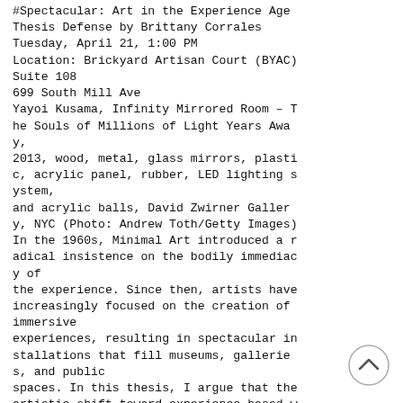#Spectacular: Art in the Experience Age
Thesis Defense by Brittany Corrales
Tuesday, April 21, 1:00 PM
Location: Brickyard Artisan Court (BYAC)
Suite 108
699 South Mill Ave
Yayoi Kusama, Infinity Mirrored Room – The Souls of Millions of Light Years Away,
2013, wood, metal, glass mirrors, plastic, acrylic panel, rubber, LED lighting system,
and acrylic balls, David Zwirner Gallery, NYC (Photo: Andrew Toth/Getty Images)
In the 1960s, Minimal Art introduced a radical insistence on the bodily immediacy of
the experience. Since then, artists have increasingly focused on the creation of immersive
experiences, resulting in spectacular installations that fill museums, galleries, and public
spaces. In this thesis, I argue that the artistic shift toward experience-based w